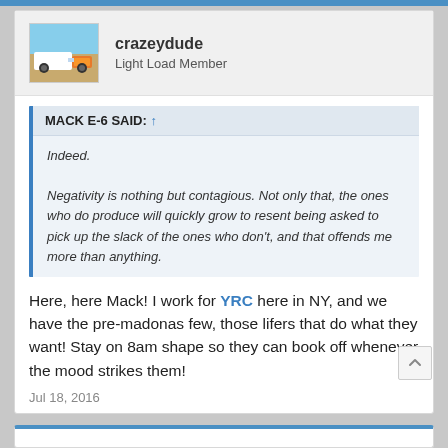crazeydude
Light Load Member
MACK E-6 SAID: ↑
Indeed.
Negativity is nothing but contagious. Not only that, the ones who do produce will quickly grow to resent being asked to pick up the slack of the ones who don't, and that offends me more than anything.
Here, here Mack! I work for YRC here in NY, and we have the pre-madonas few, those lifers that do what they want! Stay on 8am shape so they can book off whenever the mood strikes them!
Jul 18, 2016